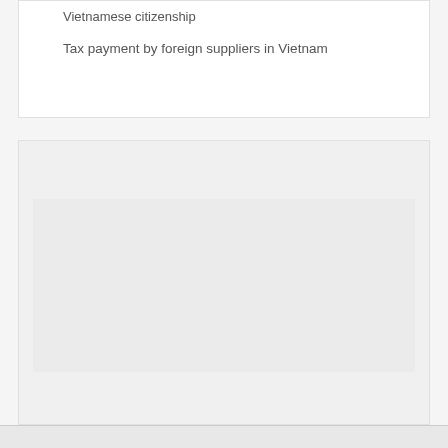Vietnamese citizenship
Tax payment by foreign suppliers in Vietnam
VIDEO
[Figure (screenshot): Embedded video player area showing Vietnam Law & Legal Forum video content]
Vietnam Law & Legal Forum